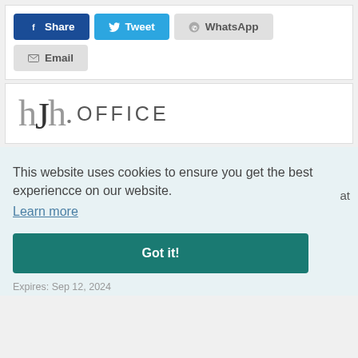[Figure (other): Social sharing buttons: Share (Facebook, dark blue), Tweet (Twitter, light blue), WhatsApp (grey), Email (grey)]
[Figure (logo): hjh. OFFICE logo — stylized lowercase letters h, j, h followed by a dot and the word OFFICE in caps]
This website uses cookies to ensure you get the best experiencce on our website.
Learn more
Got it!
Expires: Sep 12, 2024